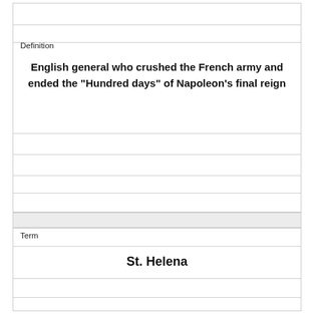Definition
English general who crushed the French army and ended the "Hundred days" of Napoleon's final reign
Term
St. Helena